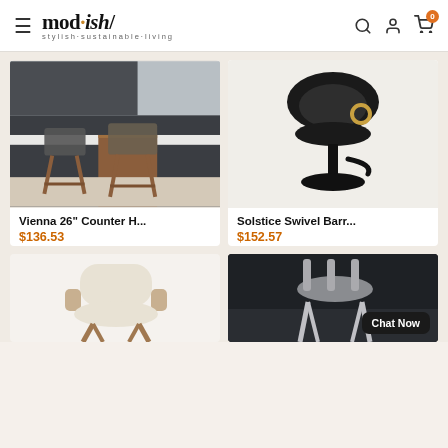mod·ish/ stylish·sustainable·living
[Figure (photo): Two mid-century modern wooden bar stools with dark gray upholstered seats in a modern kitchen setting]
Vienna 26" Counter H...
$136.53
[Figure (photo): Black swivel barstool with rounded back, black metal base, and gold accent ring]
Solstice Swivel Barr...
$152.57
[Figure (photo): Cream/white upholstered swivel chair with wooden base, partially visible]
[Figure (photo): Gray upholstered barstool with silver/chrome legs in a dark kitchen setting, Chat Now button overlay]
Chat Now